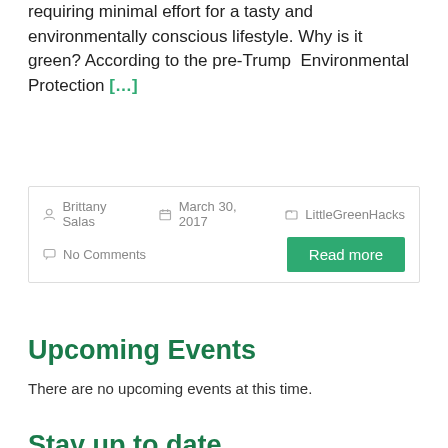requiring minimal effort for a tasty and environmentally conscious lifestyle. Why is it green? According to the pre-Trump Environmental Protection [...]
Brittany Salas   March 30, 2017   LittleGreenHacks   No Comments   Read more
Upcoming Events
There are no upcoming events at this time.
Stay up to date